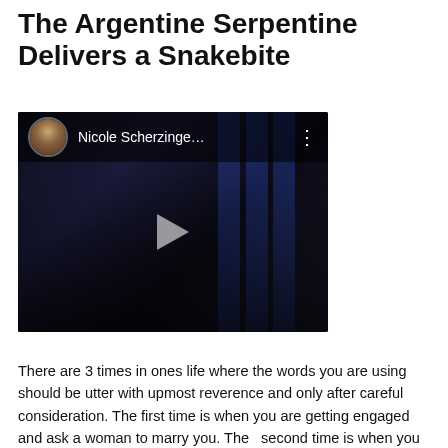The Argentine Serpentine Delivers a Snakebite
[Figure (screenshot): YouTube video thumbnail showing two performers on stage — a man in a tuxedo on the left and a woman in a sparkly dress on the right, both with mouths open as if singing. The video overlay shows a circular avatar, the channel name 'Nicole Scherzinge...' and a three-dot menu icon. A play button triangle is centered on the dark stage image.]
There are 3 times in ones life where the words you are using should be utter with upmost reverence and only after careful consideration. The first time is when you are getting engaged and ask a woman to marry you. The   second time is when you actually standing at the altar saying your vows. However,